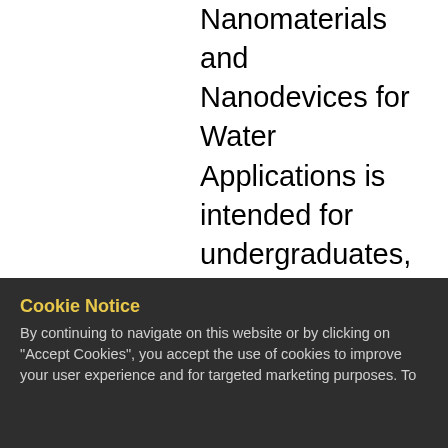Nanomaterials and Nanodevices for Water Applications is intended for undergraduates, graduates, scientists and professionals in the fields of environmental science, material science, chemistry, and chemistry engineering. It provides coherent and good material for teaching, research, and professional reference. Contents: Introduction to rational nano-design for water applications; Rational design of smart materials/surfaces with switchable oil wettability for sustainable oil-spill cleanup; Rational design of three-dimensional macroscale porous electrodes for bioelectrochemical systems; Design of (photo)electrochemical active
Cookie Notice
By continuing to navigate on this website or by clicking on "Accept Cookies", you accept the use of cookies to improve your user experience and for targeted marketing purposes. To